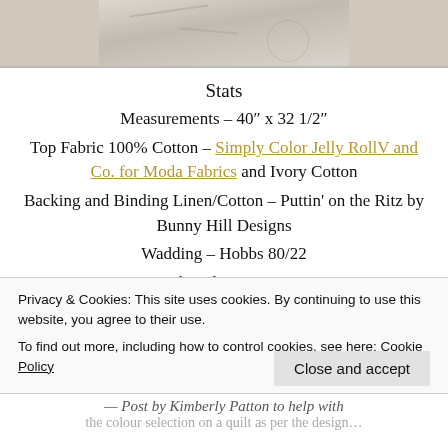[Figure (photo): Partial photo of light-colored fabric or textile with faint markings, cropped at top of page]
Stats
Measurements – 40″ x 32 1/2″
Top Fabric 100% Cotton – Simply Color Jelly RollV and Co. for Moda Fabrics and Ivory Cotton
Backing and Binding Linen/Cotton – Puttin' on the Ritz by Bunny Hill Designs
Wadding – Hobbs 80/22
Thread – Coates
Privacy & Cookies: This site uses cookies. By continuing to use this website, you agree to their use. To find out more, including how to control cookies, see here: Cookie Policy
Close and accept